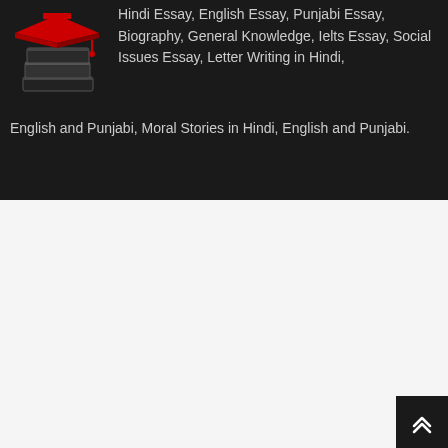[Figure (logo): Stack of books with a red graduation cap on top, on a dark background]
Hindi Essay, English Essay, Punjabi Essay, Biography, General Knowledge, Ielts Essay, Social Issues Essay, Letter Writing in Hindi, English and Punjabi, Moral Stories in Hindi, English and Punjabi.
Leave a Reply
Comment Text*